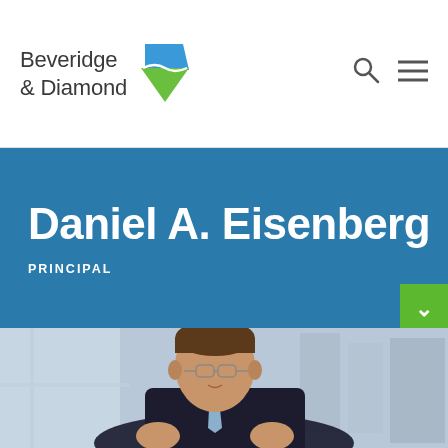[Figure (logo): Beveridge & Diamond law firm logo with blue and green diamond shape]
Daniel A. Eisenberg
PRINCIPAL
[Figure (photo): Professional headshot of Daniel A. Eisenberg, a man in a dark suit with a light blue tie and glasses, photographed in an office setting with city buildings visible through large windows in the background]